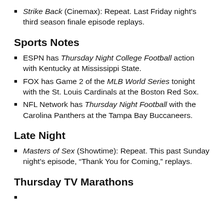Strike Back (Cinemax): Repeat. Last Friday night's third season finale episode replays.
Sports Notes
ESPN has Thursday Night College Football action with Kentucky at Mississippi State.
FOX has Game 2 of the MLB World Series tonight with the St. Louis Cardinals at the Boston Red Sox.
NFL Network has Thursday Night Football with the Carolina Panthers at the Tampa Bay Buccaneers.
Late Night
Masters of Sex (Showtime): Repeat. This past Sunday night's episode, “Thank You for Coming,” replays.
Thursday TV Marathons